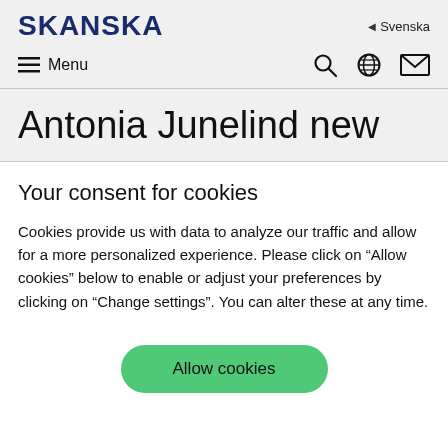SKANSKA
Svenska
Menu
Antonia Junelind new
Your consent for cookies
Cookies provide us with data to analyze our traffic and allow for a more personalized experience. Please click on “Allow cookies” below to enable or adjust your preferences by clicking on “Change settings”. You can alter these at any time.
Allow cookies